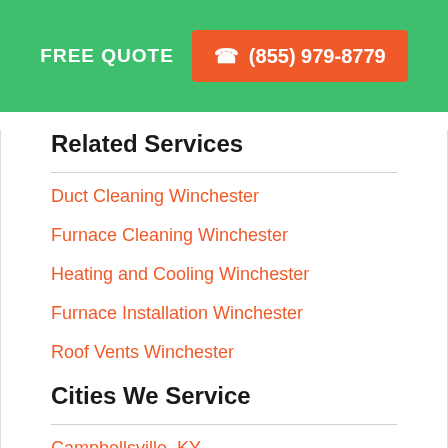FREE QUOTE  ☎ (855) 979-8779
Related Services
Duct Cleaning Winchester
Furnace Cleaning Winchester
Heating and Cooling Winchester
Furnace Installation Winchester
Roof Vents Winchester
Cities We Service
Campbellsville, KY
La Grange, KY
Shelbyville, KY